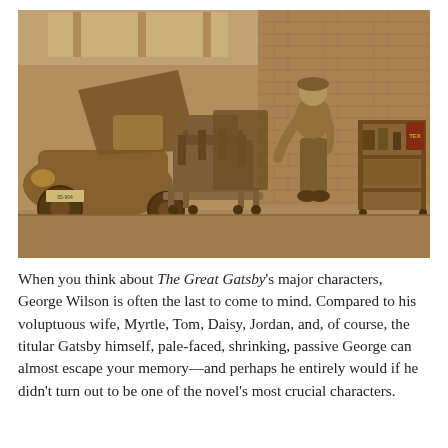[Figure (photo): Sepia-toned vintage photograph of an auto repair garage or workshop. On the left, an old car (1930s–1940s era) with its hood open. In the center, a large engine mounted on a stand/cart. On the right, a mechanic in work clothes standing and looking at the engine. Against the back wall, shelves with tools and equipment. The setting is an industrial brick-walled garage with high windows letting in light from above.]
When you think about The Great Gatsby's major characters, George Wilson is often the last to come to mind. Compared to his voluptuous wife, Myrtle, Tom, Daisy, Jordan, and, of course, the titular Gatsby himself, pale-faced, shrinking, passive George can almost escape your memory—and perhaps he entirely would if he didn't turn out to be one of the novel's most crucial characters.